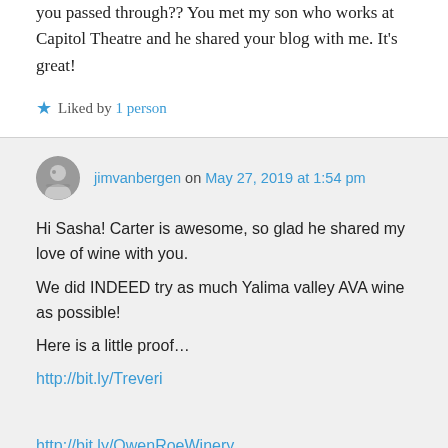you passed through?? You met my son who works at Capitol Theatre and he shared your blog with me. It's great!
★ Liked by 1 person
jimvanbergen on May 27, 2019 at 1:54 pm
Hi Sasha! Carter is awesome, so glad he shared my love of wine with you.
We did INDEED try as much Yalima valley AVA wine as possible!
Here is a little proof…
http://bit.ly/Treveri

http://bit.ly/OwenRoeWinery

We tried several more in Yakima, and